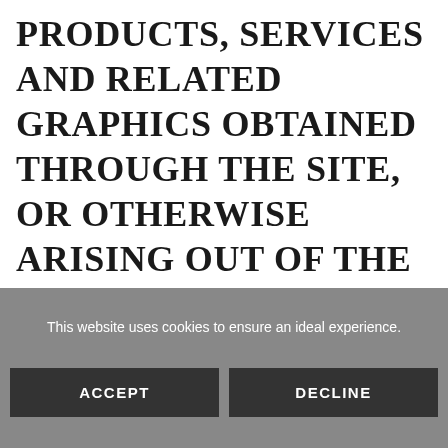PRODUCTS, SERVICES AND RELATED GRAPHICS OBTAINED THROUGH THE SITE, OR OTHERWISE ARISING OUT OF THE USE OF THE SITE, WHETHER BASED ON CONTRACT, TORT, NEGLIGENCE, STRICT
This website uses cookies to ensure an ideal experience.
ACCEPT
DECLINE